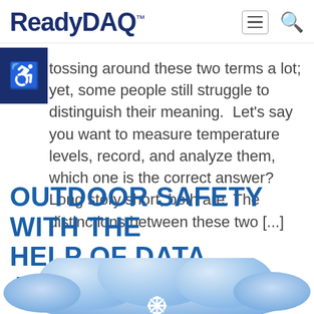ReadyDAQ™
tossing around these two terms a lot; yet, some people still struggle to distinguish their meaning.  Let's say you want to measure temperature levels, record, and analyze them, which one is the correct answer? Long story short, both are. The distinctions between these two [...]
OUTDOOR SAFETY WITH THE HELP OF DATA ACQUISITION
[Figure (illustration): Blue cloud illustration with snowflake icon indicating winter/outdoor weather conditions related to data acquisition safety]